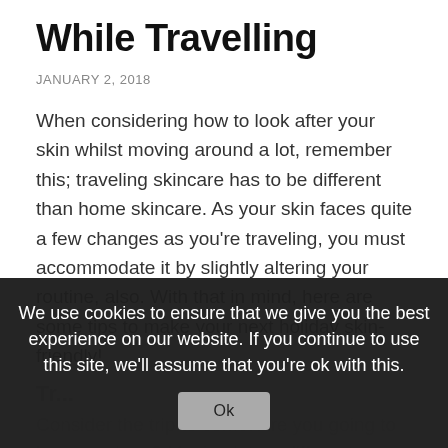While Travelling
JANUARY 2, 2018
When considering how to look after your skin whilst moving around a lot, remember this; traveling skincare has to be different than home skincare. As your skin faces quite a few changes as you’re traveling, you must accommodate it by slightly altering your routine, also. With that in mind, here are some tips to make your next holiday skin-friendly!
Tr...
Consider the trip to come. Are you going to be on a plane? Moving into a different climate? Prepare your skin a couple of days beforehand and consider visiting a
We use cookies to ensure that we give you the best experience on our website. If you continue to use this site, we’ll assume that you’re ok with this.
Ok